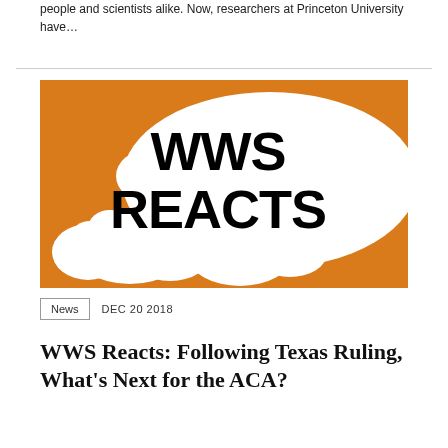people and scientists alike. Now, researchers at Princeton University have…
[Figure (illustration): Orange background with two white speech bubbles containing bold black text reading 'WWS REACTS']
News   DEC 20 2018
WWS Reacts: Following Texas Ruling, What's Next for the ACA?